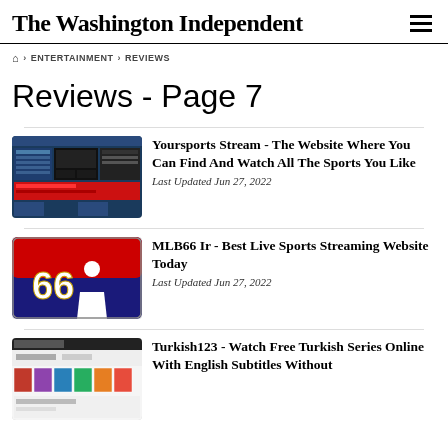The Washington Independent
🏠 › ENTERTAINMENT › REVIEWS
Reviews - Page 7
[Figure (screenshot): Screenshot of Yoursports Stream website showing sports streaming interface with multiple panels]
Yoursports Stream - The Website Where You Can Find And Watch All The Sports You Like
Last Updated Jun 27, 2022
[Figure (logo): MLB66 logo with blue and red background, baseball player silhouette and number 66]
MLB66 Ir - Best Live Sports Streaming Website Today
Last Updated Jun 27, 2022
[Figure (screenshot): Screenshot of Turkish123 website showing TV series thumbnails]
Turkish123 - Watch Free Turkish Series Online With English Subtitles Without